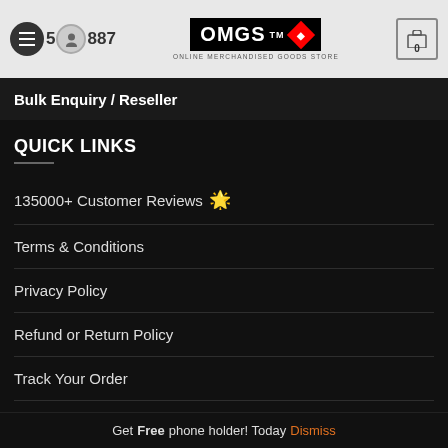OMGS - Online Merchandised Goods Store header with navigation
Bulk Enquiry / Reseller
QUICK LINKS
135000+ Customer Reviews 🌟
Terms & Conditions
Privacy Policy
Refund or Return Policy
Track Your Order
Contact Us
Get Free phone holder! Today Dismiss